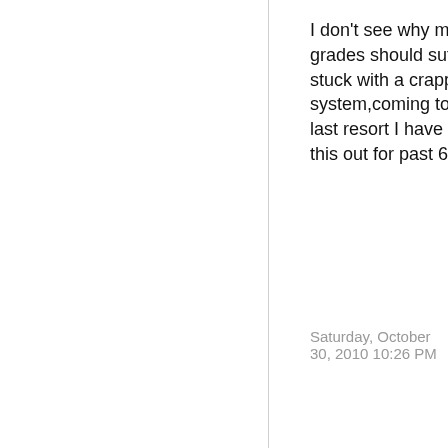I don't see why my coursework and grades should suffer because I am stuck with a crappy operating system,coming to this forum was my last resort I have been trying to sort this out for past 6 months
Saturday, October 30, 2010 10:26 PM
sue.teiwaz   0 Points
0
Sign in to vote